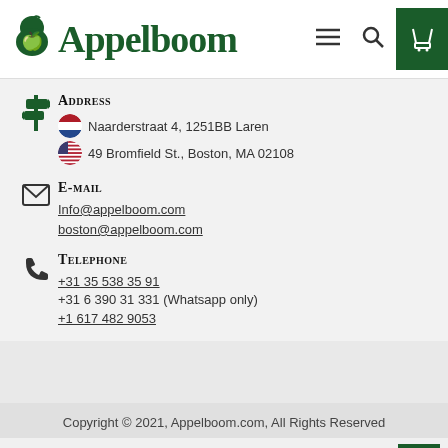Appelboom
Address
Naarderstraat 4, 1251BB Laren
49 Bromfield St., Boston, MA 02108
E-mail
Info@appelboom.com
boston@appelboom.com
Telephone
+31 35 538 35 91
+31 6 390 31 331 (Whatsapp only)
+1 617 482 9053
Copyright © 2021, Appelboom.com, All Rights Reserved